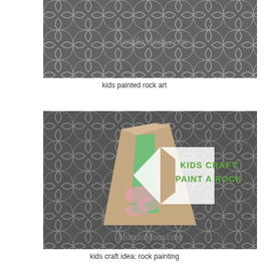[Figure (photo): Top portion of a painted rock art photo showing a grey moroccan tile/quatrefoil patterned surface with MondoMom.com watermark]
kids painted rock art
[Figure (photo): A large painted rock sitting on a grey moroccan/quatrefoil patterned tablecloth. The rock has green, pink and white paint on it. In the upper right is a white arrow shape with text 'KIDS CRAFT: PAINT A ROCK' in green letters. MondoMom.com watermark at the bottom.]
kids craft idea: rock painting